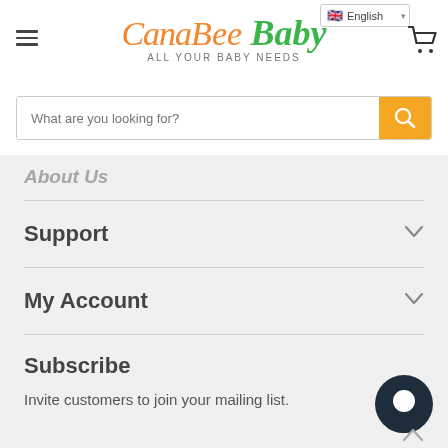[Figure (screenshot): Language selector dropdown showing English with UK flag]
[Figure (logo): CanaBee Baby logo with tagline ALL YOUR BABY NEEDS]
What are you looking for?
About Us
Support
My Account
Subscribe
Invite customers to join your mailing list.